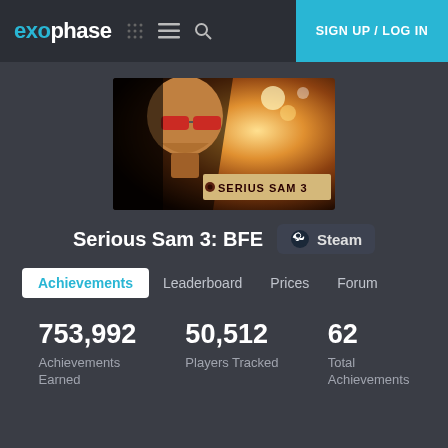exophase  SIGN UP / LOG IN
[Figure (screenshot): Serious Sam 3: BFE game cover art showing a muscular man with red sunglasses against an explosive background with the game title banner]
Serious Sam 3: BFE
Steam
Achievements  Leaderboard  Prices  Forum
753,992
Achievements Earned
50,512
Players Tracked
62
Total Achievements